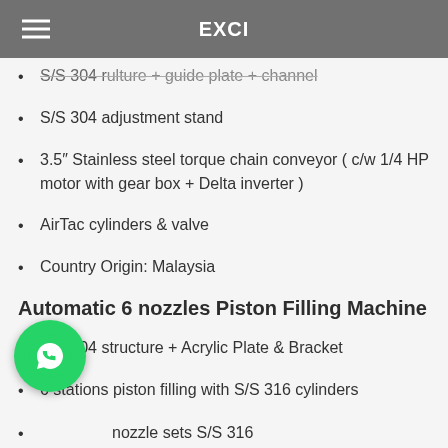EXCI
S/S 304 r... guide plate + channel (partial, cut off)
S/S 304 adjustment stand
3.5" Stainless steel torque chain conveyor ( c/w 1/4 HP motor with gear box + Delta inverter )
AirTac cylinders & valve
Country Origin: Malaysia
Automatic 6 nozzles Piston Filling Machine
S/S 304 structure + Acrylic Plate & Bracket
6 stations piston filling with S/S 316 cylinders
nozzle sets S/S 316
3.5" Stainless steel torque chain conveyor ( c/w 1/4 HP (partial, cut off at bottom)